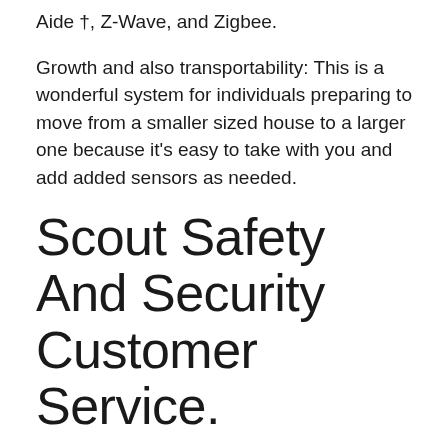Aide †, Z-Wave, and Zigbee.
Growth and also transportability: This is a wonderful system for individuals preparing to move from a smaller sized house to a larger one because it's easy to take with you and add added sensors as needed.
Scout Safety And Security Customer Service.
Scout client support is offered via phone at 844-287-2688 or can be gotten to at support@scoutalarm.com. Customer care is readily available from 9:00 AM to 6:00 PM